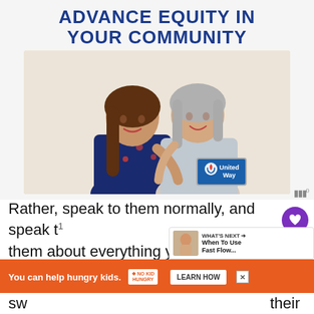[Figure (infographic): United Way advertisement banner with title 'ADVANCE EQUITY IN YOUR COMMUNITY' in bold dark blue uppercase text, photo of two smiling women hugging (younger woman in floral dress and older woman with grey hair), United Way logo badge in bottom right of photo]
Rather, speak to them normally, and speak to them about everything you're doing.
Reduce screen time. The easiest thing parents do (the ones) to change...
[Figure (infographic): What's Next panel showing thumbnail image and text 'When To Use Fast Flow...']
[Figure (infographic): Orange advertisement banner: 'You can help hungry kids. NO KID HUNGRY LEARN HOW' with close X button]
their